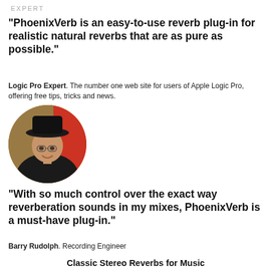EXPERT
"PhoenixVerb is an easy-to-use reverb plug-in for realistic natural reverbs that are as pure as possible."
Logic Pro Expert. The number one web site for users of Apple Logic Pro, offering free tips, tricks and news.
[Figure (photo): Circular portrait photo of Barry Rudolph, a man wearing a black hat and glasses, smiling, with a studio background.]
"With so much control over the exact way reverberation sounds in my mixes, PhoenixVerb is a must-have plug-in."
Barry Rudolph. Recording Engineer
Classic Stereo Reverbs for Music